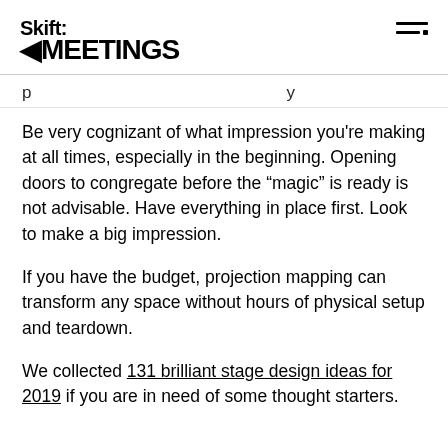Skift MEETINGS
p g y
Be very cognizant of what impression you're making at all times, especially in the beginning. Opening doors to congregate before the “magic” is ready is not advisable. Have everything in place first. Look to make a big impression.
If you have the budget, projection mapping can transform any space without hours of physical setup and teardown.
We collected 131 brilliant stage design ideas for 2019 if you are in need of some thought starters.